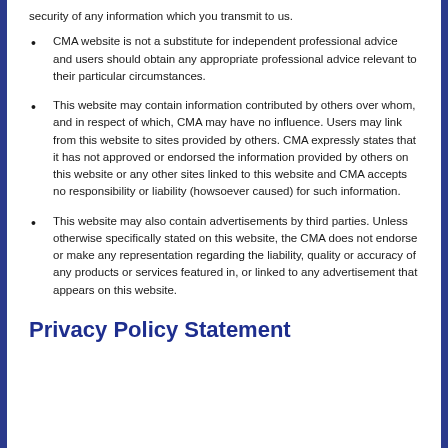security of any information which you transmit to us.
CMA website is not a substitute for independent professional advice and users should obtain any appropriate professional advice relevant to their particular circumstances.
This website may contain information contributed by others over whom, and in respect of which, CMA may have no influence. Users may link from this website to sites provided by others. CMA expressly states that it has not approved or endorsed the information provided by others on this website or any other sites linked to this website and CMA accepts no responsibility or liability (howsoever caused) for such information.
This website may also contain advertisements by third parties. Unless otherwise specifically stated on this website, the CMA does not endorse or make any representation regarding the liability, quality or accuracy of any products or services featured in, or linked to any advertisement that appears on this website.
Privacy Policy Statement